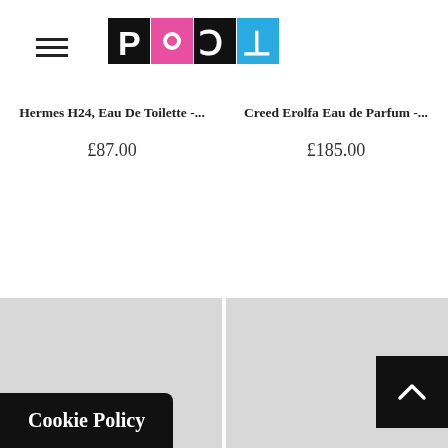PORT
Hermes H24, Eau De Toilette -...
£87.00
Creed Erolfa Eau de Parfum -...
£185.00
[Figure (other): Gray placeholder product image box (left)]
[Figure (other): Gray placeholder product image box (right)]
Cookie Policy